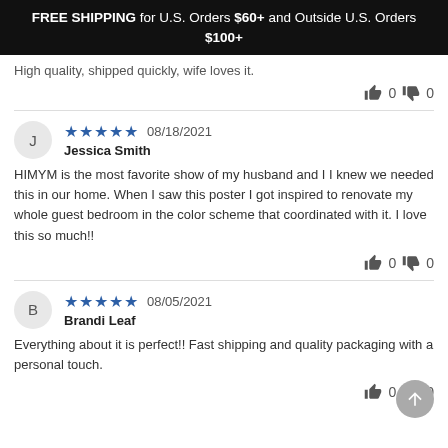FREE SHIPPING for U.S. Orders $60+ and Outside U.S. Orders $100+
High quality, shipped quickly, wife loves it.
0   0
★★★★★ 08/18/2021
Jessica Smith
HIMYM is the most favorite show of my husband and I I knew we needed this in our home. When I saw this poster I got inspired to renovate my whole guest bedroom in the color scheme that coordinated with it. I love this so much!!
0   0
★★★★★ 08/05/2021
Brandi Leaf
Everything about it is perfect!! Fast shipping and quality packaging with a personal touch.
0   0